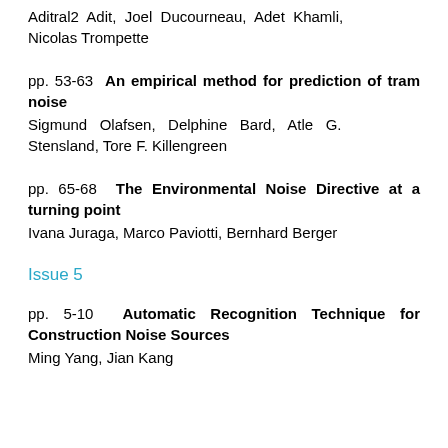Aditral2 Adit, Joel Ducourneau, Adet Khamli, Nicolas Trompette
pp. 53-63 An empirical method for prediction of tram noise
Sigmund Olafsen, Delphine Bard, Atle G. Stensland, Tore F. Killengreen
pp. 65-68 The Environmental Noise Directive at a turning point
Ivana Juraga, Marco Paviotti, Bernhard Berger
Issue 5
pp. 5-10 Automatic Recognition Technique for Construction Noise Sources
Ming Yang, Jian Kang